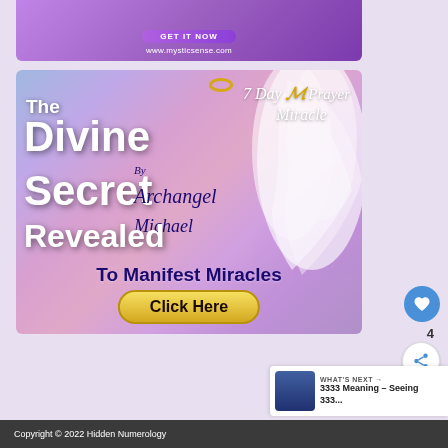[Figure (screenshot): Top portion of mysticsense.com advertisement banner with purple gradient background and GET IT NOW button and www.mysticsense.com URL]
[Figure (screenshot): Advertisement for '7 Day Prayer Miracle - The Divine Secret Revealed To Manifest Miracles By Archangel Michael' with angel wings graphic, colorful purple/pink gradient background, and Click Here button]
4
WHAT'S NEXT → 3333 Meaning – Seeing 333...
Copyright © 2022 Hidden Numerology